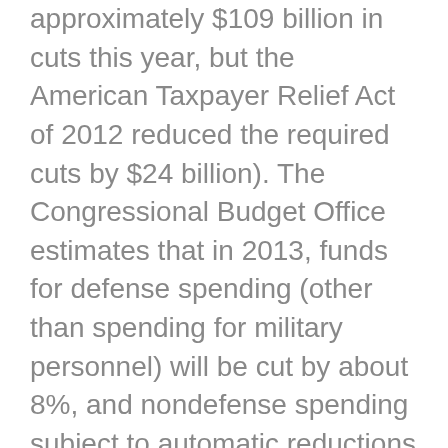approximately $109 billion in cuts this year, but the American Taxpayer Relief Act of 2012 reduced the required cuts by $24 billion). The Congressional Budget Office estimates that in 2013, funds for defense spending (other than spending for military personnel) will be cut by about 8%, and nondefense spending subject to automatic reductions will be cut by between 5% and 6%. (Source: Congressional Budget Office, The Budget and Economic Outlook: Fiscal Years 2013 to 2023, February 2013)
You may have heard a great deal about what’s going to happen as a result of the sequester, and much of it has likely been alarming. It’s important to understand, though, that the government will not be